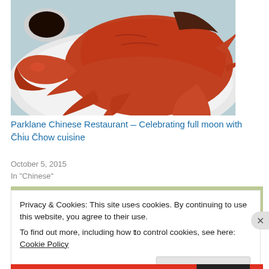[Figure (photo): A cooked crab served on a white plate, with a small dish of dark dipping sauce on the side. The crab is bright red/orange. The background is a light blue-green table surface.]
Parklane Chinese Restaurant – Celebrating full moon with Chiu Chow cuisine
October 5, 2015
In "Chinese"
[Figure (photo): Partial view of another food photo, mostly obscured by the cookie banner.]
Privacy & Cookies: This site uses cookies. By continuing to use this website, you agree to their use.
To find out more, including how to control cookies, see here: Cookie Policy
Close and accept